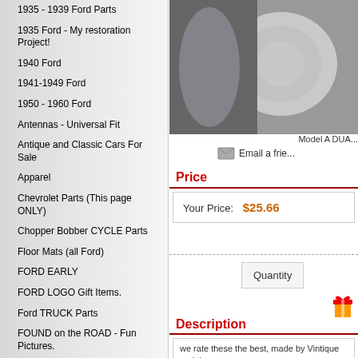1935 - 1939 Ford Parts
1935 Ford - My restoration Project!
1940 Ford
1941-1949 Ford
1950 - 1960 Ford
Antennas - Universal Fit
Antique and Classic Cars For Sale
Apparel
Chevrolet Parts (This page ONLY)
Chopper Bobber CYCLE Parts
Floor Mats (all Ford)
FORD EARLY
FORD LOGO Gift Items.
Ford TRUCK Parts
FOUND on the ROAD - Fun Pictures.
Garage - Shop - Wall Items
Gas & Brake Pedals
Gas Tanks - Ford Only
Gear Shift Knobs
Hot Rod - Street Rod - Mirrors- LOADS of them..
[Figure (photo): Product photo showing Model A DUAL part in plastic bag on gray background]
Model A DUA...
Email a frie...
Price
Your Price: $25.66
Quantity
Description
we rate these the best, made by Vintique and the headlanp, one for the parking bulb. Sold per re...